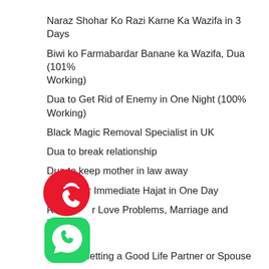Naraz Shohar Ko Razi Karne Ka Wazifa in 3 Days
Biwi ko Farmabardar Banane ka Wazifa, Dua (101% Working)
Dua to Get Rid of Enemy in One Night (100% Working)
Black Magic Removal Specialist in UK
Dua to break relationship
Dua to keep mother in law away
Wazifa for Immediate Hajat in One Day
Ruqyah for Love Problems, Marriage and Husband Wife
Dua for Getting a Good Life Partner or Spouse
Dua to Fix a Broken Relationship
Dua Wazifa to Win Court Case
Ya Wadoodo for Love Back and Marriage